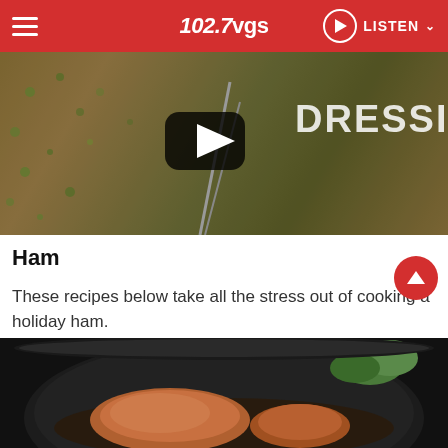102.7 VGS — LISTEN
[Figure (screenshot): Video thumbnail showing a dish with cornbread dressing, with a YouTube-style play button overlay and the word DRESSING visible on the right side]
Ham
These recipes below take all the stress out of cooking a holiday ham.
[Figure (photo): Photo of a ham in a black slow cooker/crockpot, with green vegetables visible in the upper right corner]